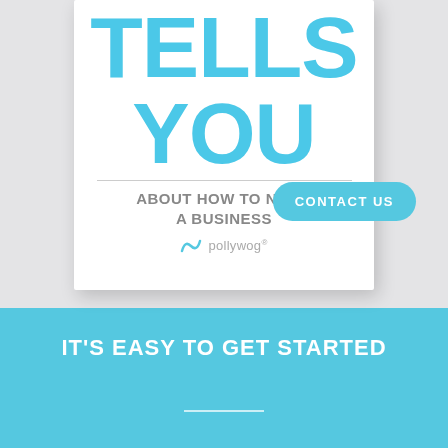[Figure (illustration): Book cover showing 'TELLS YOU' in large cyan letters on white background with subtitle 'ABOUT HOW TO NAME A BUSINESS' and Pollywog logo]
CONTACT US
IT'S EASY TO GET STARTED